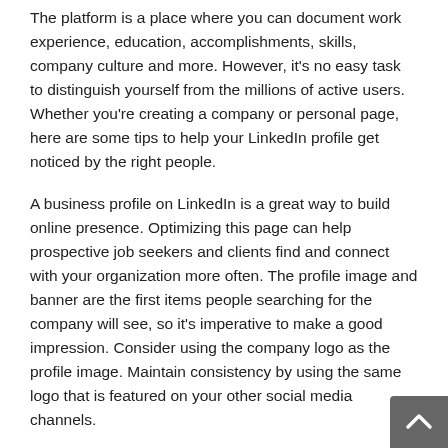The platform is a place where you can document work experience, education, accomplishments, skills, company culture and more. However, it's no easy task to distinguish yourself from the millions of active users. Whether you're creating a company or personal page, here are some tips to help your LinkedIn profile get noticed by the right people.
A business profile on LinkedIn is a great way to build online presence. Optimizing this page can help prospective job seekers and clients find and connect with your organization more often. The profile image and banner are the first items people searching for the company will see, so it's imperative to make a good impression. Consider using the company logo as the profile image. Maintain consistency by using the same logo that is featured on your other social media channels.
Creating LinkedIn “Showcase pages” allows you to easily highlight your brand and accomplishments. These customizable pages are extensions of the core LinkedIn…